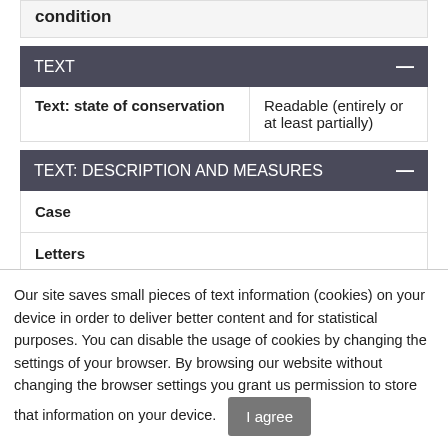condition
TEXT
| Text: state of conservation | Readable (entirely or at least partially) |
TEXT: DESCRIPTION AND MEASURES
| Case |  |
| Letters |  |
| Style |  |
| Letter height |  |
Our site saves small pieces of text information (cookies) on your device in order to deliver better content and for statistical purposes. You can disable the usage of cookies by changing the settings of your browser. By browsing our website without changing the browser settings you grant us permission to store that information on your device.